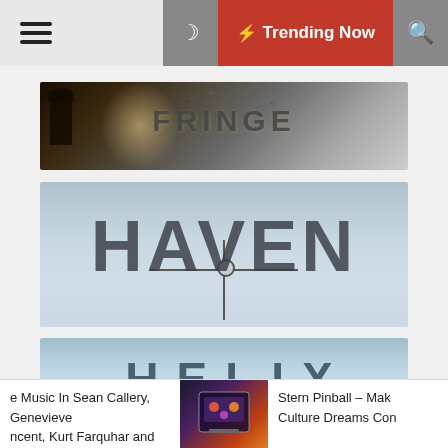☰  ☾  ⚡ Trending Now  🔍
[Figure (screenshot): TV show promotional image for FRINGE - dark atmospheric with silhouette figure and scattered birds, logo text reads FRINGE]
[Figure (screenshot): TV show promotional image for HAVEN - metallic weathervane letters spelling HAVEN against light blue sky]
[Figure (screenshot): TV show promotional image for HELIX - letters H E L I X spaced against icy blue background]
e Music In Sean Callery, Genevieve ncent, Kurt Farquhar and Matthe...
Stern Pinball – Mak Culture Dreams Con